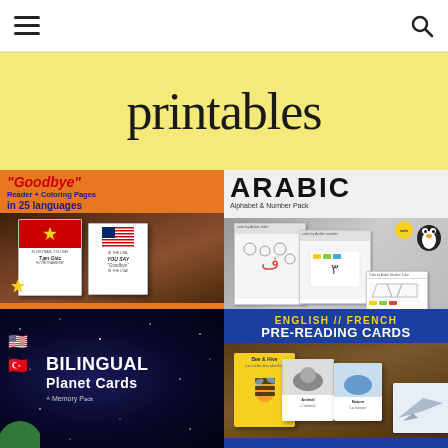Navigation bar with hamburger menu and search icon
[Figure (screenshot): Educational printables website screenshot showing banner with 'printables' text on yellow background, and a 2x2 grid of product thumbnails: 'Goodbye' Reader + Coloring Pages in 25 languages (orange card), Arabic Alphabet & Number Pack (gray/white card), Bilingual Planet Cards English/Turkish (dark space-themed card), and English//French Pre-Reading Cards (blue card)]